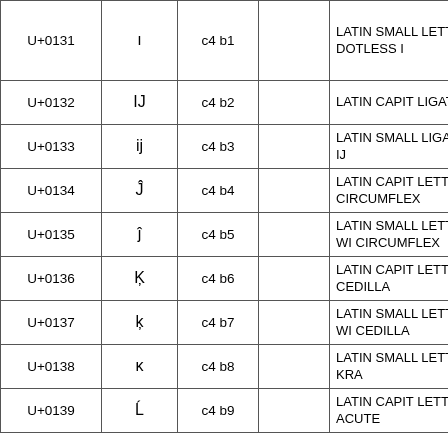| Code | Char | UTF-8 |  | Name |
| --- | --- | --- | --- | --- |
| U+0131 | ı | c4 b1 |  | LATIN SMALL LETTER DOTLESS I |
| U+0132 | IJ | c4 b2 |  | LATIN CAPITAL LIGATURE IJ |
| U+0133 | ij | c4 b3 |  | LATIN SMALL LIGATURE IJ |
| U+0134 | Ĵ | c4 b4 |  | LATIN CAPITAL LETTER J WITH CIRCUMFLEX |
| U+0135 | ĵ | c4 b5 |  | LATIN SMALL LETTER J WITH CIRCUMFLEX |
| U+0136 | Ķ | c4 b6 |  | LATIN CAPITAL LETTER K WITH CEDILLA |
| U+0137 | ķ | c4 b7 |  | LATIN SMALL LETTER K WITH CEDILLA |
| U+0138 | ĸ | c4 b8 |  | LATIN SMALL LETTER KRA |
| U+0139 | Ĺ | c4 b9 |  | LATIN CAPITAL LETTER L WITH ACUTE |